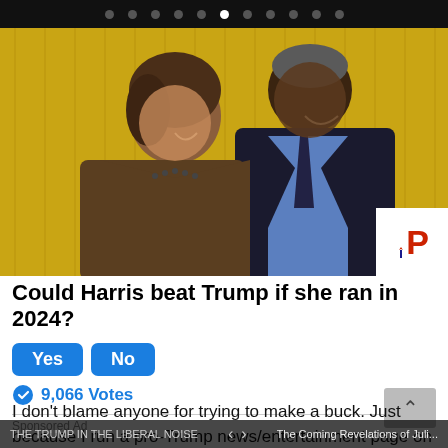navigation dots carousel indicator
[Figure (photo): A woman (Kamala Harris) and a man (Barack Obama) smiling and posing together in front of golden/yellow curtains. The woman is wearing a brown jacket and pearl necklace. The man is wearing a dark suit with a blue tie. In the bottom-right corner is a logo with 'iP' in blue and red with a flame.]
Could Harris beat Trump if she ran in 2024?
Yes  No
9,066 Votes
Sponsored Ad
I don't blame anyone for trying to make a buck. Just because I run a pro-Trump news/entertainment page on 3 different platforms without outside donations/investment
The Coming Revelations of Juli...